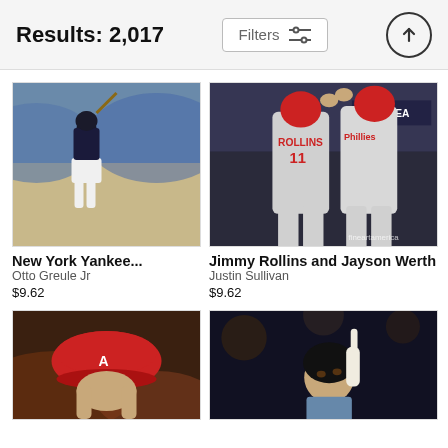Results: 2,017
[Figure (screenshot): UI header bar with Results: 2,017 text, Filters button with sliders icon, and an up-arrow circle button]
[Figure (photo): New York Yankee baseball player at bat in stadium]
New York Yankee...
Otto Greule Jr
$9.62
[Figure (photo): Jimmy Rollins (#11) and Jayson Werth of the Philadelphia Phillies high-fiving in stadium with Bay Area signage visible]
Jimmy Rollins and Jayson Werth
Justin Sullivan
$9.62
[Figure (photo): Baseball player holding a red cap viewed from behind, crowd in background]
[Figure (photo): Baseball player in dark uniform pointing upward, looking up]